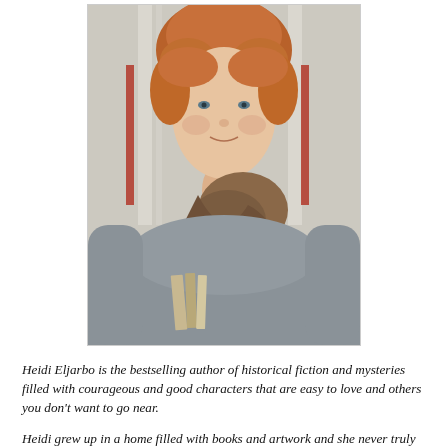[Figure (photo): Portrait photo of Heidi Eljarbo, a woman with short auburn hair, wearing a grey knit sweater and a brown/grey scarf, holding books, standing in front of a light-colored wall with red accents.]
Heidi Eljarbo is the bestselling author of historical fiction and mysteries filled with courageous and good characters that are easy to love and others you don't want to go near.
Heidi grew up in a home filled with books and artwork and she never truly imagined she would do anything other than write and paint. She studied art, languages, and history, all of which have come in handy when working as an author, magazine journalist,